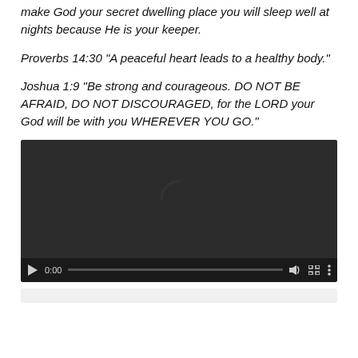make God your secret dwelling place you will sleep well at nights because He is your keeper.
Proverbs 14:30 "A peaceful heart leads to a healthy body."
Joshua 1:9 "Be strong and courageous. DO NOT BE AFRAID, DO NOT DISCOURAGED, for the LORD your God will be with you WHEREVER YOU GO."
[Figure (screenshot): A video player with dark background showing a loading spinner (partial circle arc) in the center. Controls bar at bottom shows play button, time 0:00, progress bar, volume icon, fullscreen icon, and options icon.]